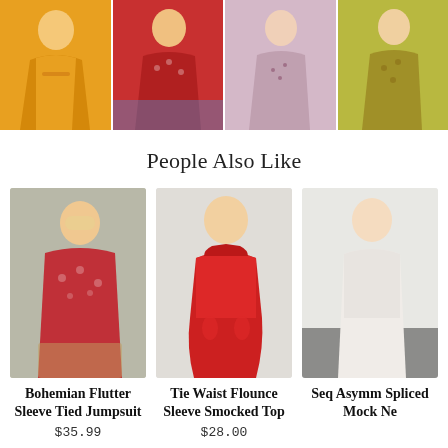[Figure (photo): Four product photos in a row showing women's summer dresses: yellow ruffled dress, red floral bohemian dress, purple floral mini dress, yellow floral dress.]
People Also Like
[Figure (photo): Product photo of a woman wearing a red floral bohemian flutter sleeve tied jumpsuit with hat.]
Bohemian Flutter Sleeve Tied Jumpsuit
$35.99
[Figure (photo): Product photo of a woman wearing a red tie waist flounce sleeve smocked top.]
Tie Waist Flounce Sleeve Smocked Top
$28.00
[Figure (photo): Partial product photo of a woman in a white dress, product name partially visible starting with 'Seq'.]
Seq Asymm Spliced Mock Ne